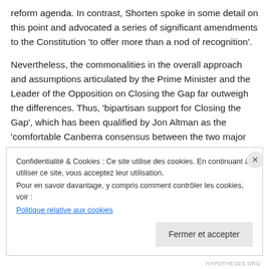reform agenda. In contrast, Shorten spoke in some detail on this point and advocated a series of significant amendments to the Constitution 'to offer more than a nod of recognition'.
Nevertheless, the commonalities in the overall approach and assumptions articulated by the Prime Minister and the Leader of the Opposition on Closing the Gap far outweigh the differences. Thus, 'bipartisan support for Closing the Gap', which has been qualified by Jon Altman as the 'comfortable Canberra consensus between the two major
Confidentialité & Cookies : Ce site utilise des cookies. En continuant à utiliser ce site, vous acceptez leur utilisation.
Pour en savoir davantage, y compris comment contrôler les cookies, voir :
Politique relative aux cookies
Fermer et accepter
HYPOTHESES.ORG